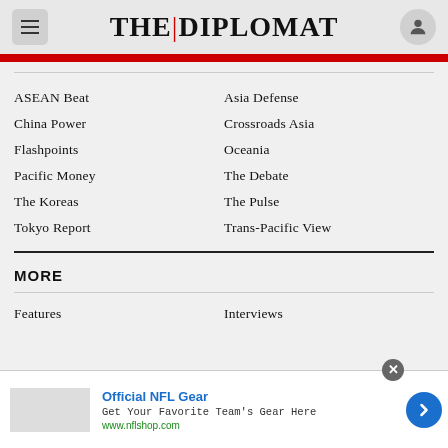[Figure (logo): The Diplomat logo with hamburger menu and user account icon]
ASEAN Beat
Asia Defense
China Power
Crossroads Asia
Flashpoints
Oceania
Pacific Money
The Debate
The Koreas
The Pulse
Tokyo Report
Trans-Pacific View
MORE
Features
Interviews
[Figure (other): Official NFL Gear advertisement banner with close button and arrow button]